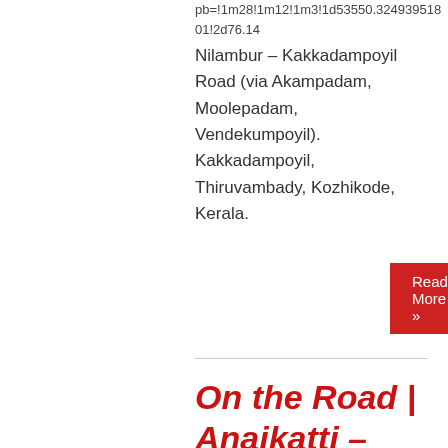pb=!1m28!1m12!1m3!1d53550.32493951801!2d76.14...
Nilambur – Kakkadampoyil Road (via Akampadam, Moolepadam, Vendekumpoyil). Kakkadampoyil, Thiruvambady, Kozhikode, Kerala.
Read More »
On the Road | Anaikatti – Mukkali
Rajkumar (LARK)   August 4, 2018   Kerala, Road is Life
Anaikatty located on the hills of Kerala – Tamil Nadu Border. Mukkali in Attapadi block a small village, the gateway to Silent Valley. The road from Anaikatty to